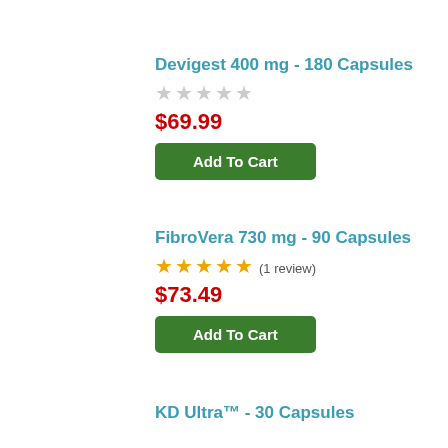Devigest 400 mg - 180 Capsules
★★★★★ (empty stars, no reviews)
$69.99
Add To Cart
FibroVera 730 mg - 90 Capsules
★★★★★ (1 review)
$73.49
Add To Cart
KD Ultra™ - 30 Capsules